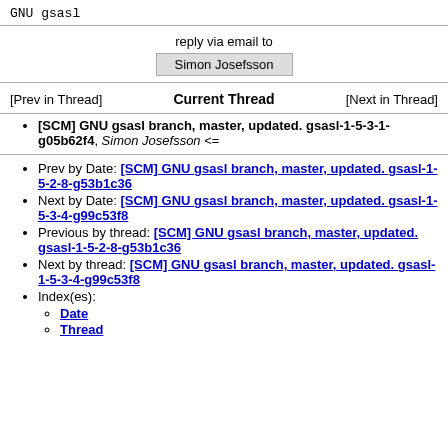GNU gsasl
reply via email to
Simon Josefsson
[Prev in Thread]   Current Thread   [Next in Thread]
[SCM] GNU gsasl branch, master, updated. gsasl-1-5-3-1-g05b62f4, Simon Josefsson <=
Prev by Date: [SCM] GNU gsasl branch, master, updated. gsasl-1-5-2-8-g53b1c36
Next by Date: [SCM] GNU gsasl branch, master, updated. gsasl-1-5-3-4-g99c53f8
Previous by thread: [SCM] GNU gsasl branch, master, updated. gsasl-1-5-2-8-g53b1c36
Next by thread: [SCM] GNU gsasl branch, master, updated. gsasl-1-5-3-4-g99c53f8
Index(es):
Date
Thread